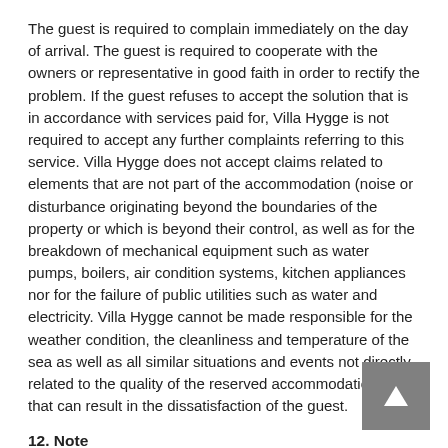The guest is required to complain immediately on the day of arrival. The guest is required to cooperate with the owners or representative in good faith in order to rectify the problem. If the guest refuses to accept the solution that is in accordance with services paid for, Villa Hygge is not required to accept any further complaints referring to this service. Villa Hygge does not accept claims related to elements that are not part of the accommodation (noise or disturbance originating beyond the boundaries of the property or which is beyond their control, as well as for the breakdown of mechanical equipment such as water pumps, boilers, air condition systems, kitchen appliances nor for the failure of public utilities such as water and electricity. Villa Hygge cannot be made responsible for the weather condition, the cleanliness and temperature of the sea as well as all similar situations and events not directly related to the quality of the reserved accommodation unit that can result in the dissatisfaction of the guest.
12. Note
Upon payment, the guest or booking party accepts and understands the General Terms & Conditions in their entirety.